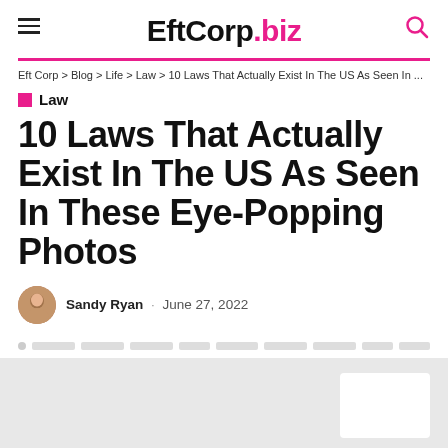EftCorp.biz
Eft Corp > Blog > Life > Law > 10 Laws That Actually Exist In The US As Seen In ...
Law
10 Laws That Actually Exist In The US As Seen In These Eye-Popping Photos
Sandy Ryan · June 27, 2022